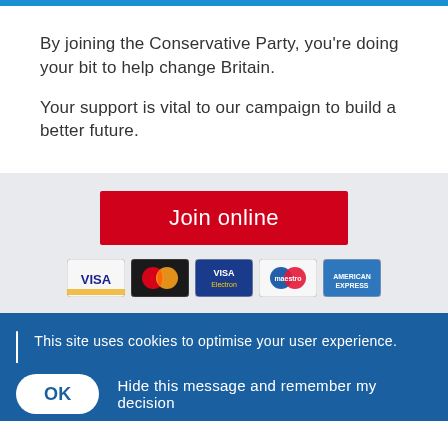By joining the Conservative Party, you're doing your bit to help change Britain.

Your support is vital to our campaign to build a better future.
[Figure (other): Red 'Join online' button]
[Figure (other): Payment card icons: Visa, Mastercard, Visa Electron, Maestro, American Express]
This site uses cookies to optimise your user experience.

Only essential cookies are set. To find out more, including how to opt out, please visit the Cookies page.
OK   Hide this message and remember my decision